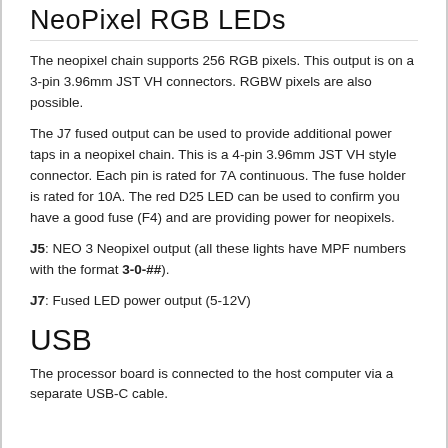NeoPixel RGB LEDs (partial)
The neopixel chain supports 256 RGB pixels. This output is on a 3-pin 3.96mm JST VH connectors. RGBW pixels are also possible.
The J7 fused output can be used to provide additional power taps in a neopixel chain. This is a 4-pin 3.96mm JST VH style connector. Each pin is rated for 7A continuous. The fuse holder is rated for 10A. The red D25 LED can be used to confirm you have a good fuse (F4) and are providing power for neopixels.
J5: NEO 3 Neopixel output (all these lights have MPF numbers with the format 3-0-##).
J7: Fused LED power output (5-12V)
USB
The processor board is connected to the host computer via a separate USB-C cable.